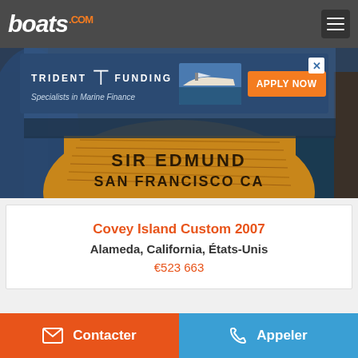boats.com
[Figure (photo): Photograph of a wooden boat stern with text 'SIR EDMUND SAN FRANCISCO CA' painted on the hull, docked at a marina. A Trident Funding advertisement banner overlays the top portion of the image.]
Covey Island Custom 2007
Alameda, California, États-Unis
€523 663
Contacter
Appeler